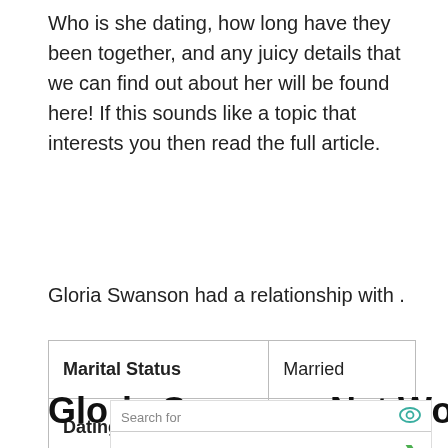Who is she dating, how long have they been together, and any juicy details that we can find out about her will be found here! If this sounds like a topic that interests you then read the full article.
Gloria Swanson had a relationship with .
| Marital Status | Married |
| Dating With? |  |
Gloria Swanson Net Worth and
[Figure (other): Advertisement overlay showing 'Search for' with eye icon, listing 1. HOTEL RESERVATIONS and 2. WORK AT HOME with green arrows, and a bottom icon.]